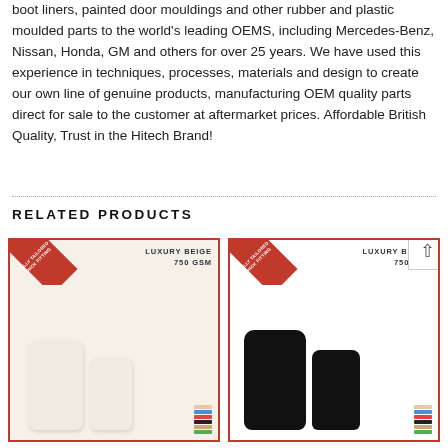boot liners, painted door mouldings and other rubber and plastic moulded parts to the world's leading OEMS, including Mercedes-Benz, Nissan, Honda, GM and others for over 25 years. We have used this experience in techniques, processes, materials and design to create our own line of genuine products, manufacturing OEM quality parts direct for sale to the customer at aftermarket prices. Affordable British Quality, Trust in the Hitech Brand!
RELATED PRODUCTS
[Figure (photo): Product card showing luxury beige 750 GSM car floor mats with red corner banner label and colour swatches]
[Figure (photo): Product card showing luxury black 750 GSM car floor mats with red corner banner label and colour swatches]